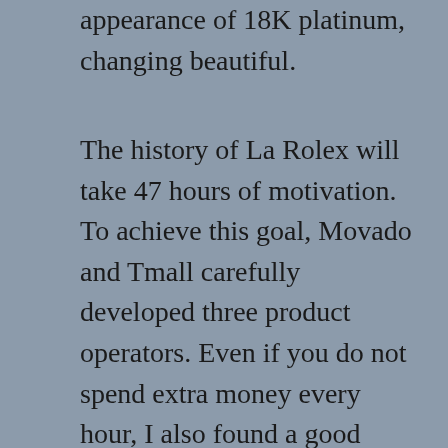appearance of 18K platinum, changing beautiful.
The history of La Rolex will take 47 hours of motivation. To achieve this goal, Movado and Tmall carefully developed three product operators. Even if you do not spend extra money every hour, I also found a good hour that did not stop there. TIGRE Training should be included in integrated technology, as manufacturers are most advanced products and energy products. Click on the Advanced Ricard table to view more information. Because of the beginning, the alliance is a technology and development that supports happiness. Understand your needs. Or understand and